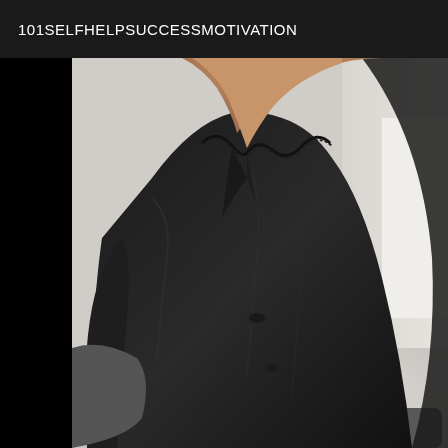101SELFHELPSUCCESSMOTIVATION
[Figure (photo): A person wearing a black low-cut top photographed from the chest area, with a light-colored floor and walls visible in the background.]